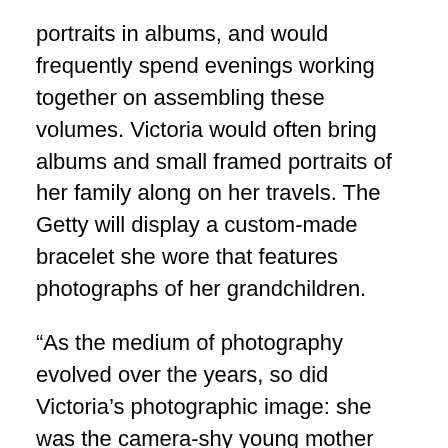portraits in albums, and would frequently spend evenings working together on assembling these volumes. Victoria would often bring albums and small framed portraits of her family along on her travels. The Getty will display a custom-made bracelet she wore that features photographs of her grandchildren.
“As the medium of photography evolved over the years, so did Victoria’s photographic image: she was the camera-shy young mother before she became an internationally recognisable sovereign,” explains Anne Lyden, curator of the exhibition.
In a rare glimpse of these private photographs, the exhibition includes scenes of young royals at play and images in which the royal family appears informal and almost middle-class in their appearance. In an 1854